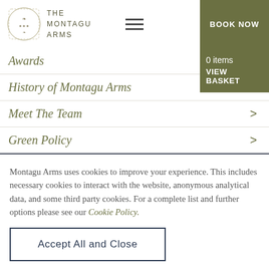[Figure (logo): The Montagu Arms crest/logo with decorative heraldic illustration and brand name text]
Awards
History of Montagu Arms >
Meet The Team >
Green Policy >
Montagu Arms uses cookies to improve your experience. This includes necessary cookies to interact with the website, anonymous analytical data, and some third party cookies. For a complete list and further options please see our Cookie Policy.
Accept All and Close